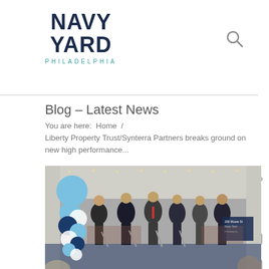NAVY YARD PHILADELPHIA
Blog – Latest News
You are here:  Home  /
Liberty Property Trust/Synterra Partners breaks ground on new high performance...
[Figure (photo): Groundbreaking ceremony photo showing six men in suits holding shovels under a white tent with blue and white balloon column decoration on the left. A sign is visible on the right side of the stage.]